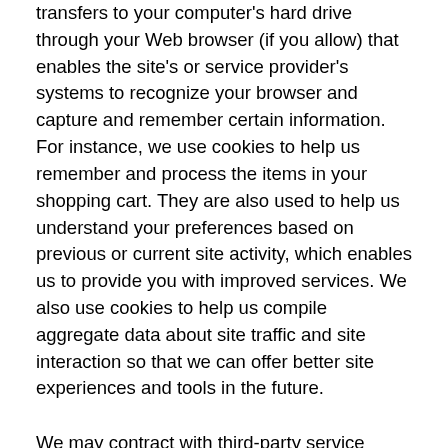transfers to your computer's hard drive through your Web browser (if you allow) that enables the site's or service provider's systems to recognize your browser and capture and remember certain information. For instance, we use cookies to help us remember and process the items in your shopping cart. They are also used to help us understand your preferences based on previous or current site activity, which enables us to provide you with improved services. We also use cookies to help us compile aggregate data about site traffic and site interaction so that we can offer better site experiences and tools in the future.
We may contract with third-party service providers to assist us in better understanding our site visitors. These service providers are not permitted to use the information collected on our behalf except to help us conduct and improve our business.
You can choose to have your computer warn you each time a cookie is being sent, or you can choose to turn off all cookies through your browser settings.